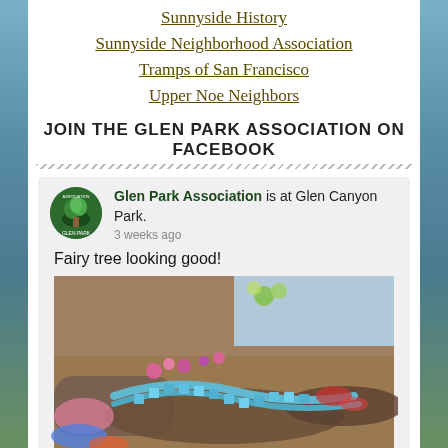Sunnyside History
Sunnyside Neighborhood Association
Tramps of San Francisco
Upper Noe Neighbors
JOIN THE GLEN PARK ASSOCIATION ON FACEBOOK
[Figure (screenshot): Facebook post from Glen Park Association showing a fairy tree at Glen Canyon Park with colorful decorations]
Glen Park Association is at Glen Canyon Park.
3 weeks ago
Fairy tree looking good!